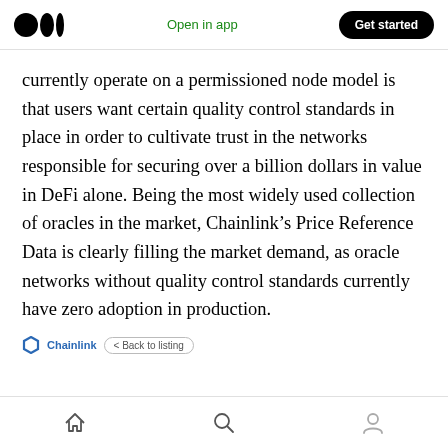Open in app | Get started
currently operate on a permissioned node model is that users want certain quality control standards in place in order to cultivate trust in the networks responsible for securing over a billion dollars in value in DeFi alone. Being the most widely used collection of oracles in the market, Chainlink’s Price Reference Data is clearly filling the market demand, as oracle networks without quality control standards currently have zero adoption in production.
Chainlink | < Back to listing